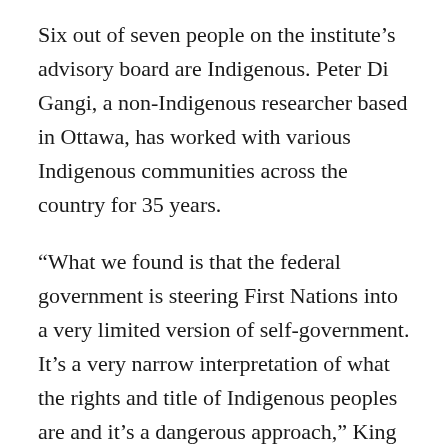Six out of seven people on the institute's advisory board are Indigenous. Peter Di Gangi, a non-Indigenous researcher based in Ottawa, has worked with various Indigenous communities across the country for 35 years.
“What we found is that the federal government is steering First Nations into a very limited version of self-government. It’s a very narrow interpretation of what the rights and title of Indigenous peoples are and it’s a dangerous approach,” King said.
The institute is being funded by Ryerson through both the faculty of arts’ operating budget and Ryerson’s main budget, according to Suelan Toye, a media relations officer for the university. And for now, it’s based out of the first floor in Jorgenson Hall, but King said they’re